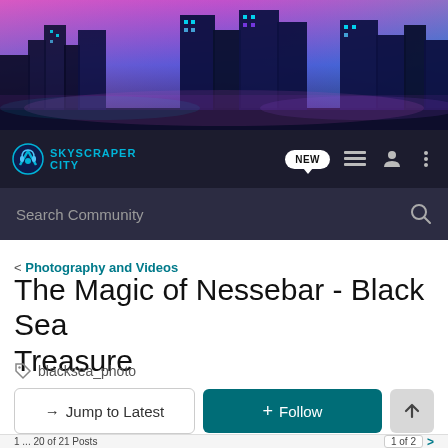[Figure (illustration): SkyscraperCity website banner showing a futuristic neon-lit city skyline at night with purple and pink hues]
SKYSCRAPER CITY
Search Community
< Photography and Videos
The Magic of Nessebar - Black Sea Treasure
blacksea_photo
→ Jump to Latest
+ Follow
1 ... 20 of 21 Posts    1 of 2 >